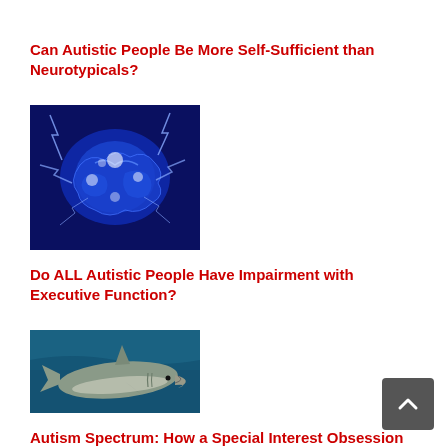[Figure (photo): Partial image of a person at the very top of the page (cropped)]
Can Autistic People Be More Self-Sufficient than Neurotypicals?
[Figure (photo): A glowing blue brain with electrical lightning bolts surrounding it against a dark blue background]
Do ALL Autistic People Have Impairment with Executive Function?
[Figure (photo): A great white shark swimming underwater in blue water]
Autism Spectrum: How a Special Interest Obsession